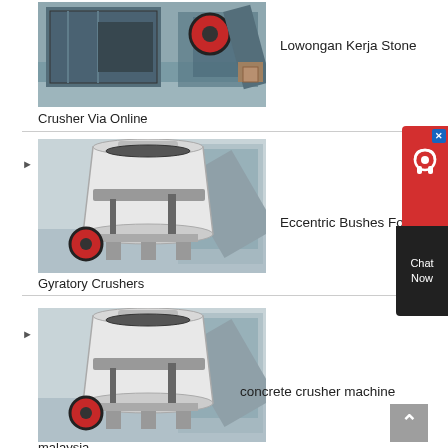[Figure (photo): Industrial jaw crusher machine in factory setting]
Lowongan Kerja Stone
Crusher Via Online
[Figure (photo): Industrial cone/gyratory crusher machine in factory setting]
Eccentric Bushes For
Gyratory Crushers
[Figure (photo): Industrial cone crusher machine in factory setting]
concrete crusher machine
malaysia